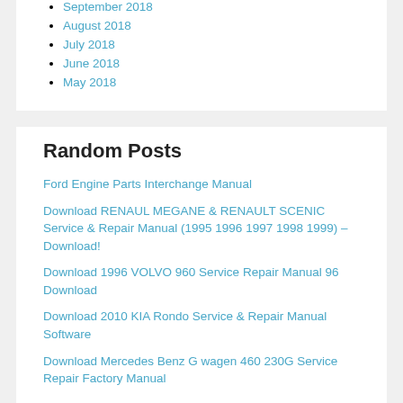September 2018
August 2018
July 2018
June 2018
May 2018
Random Posts
Ford Engine Parts Interchange Manual
Download RENAUL MEGANE & RENAULT SCENIC Service & Repair Manual (1995 1996 1997 1998 1999) – Download!
Download 1996 VOLVO 960 Service Repair Manual 96 Download
Download 2010 KIA Rondo Service & Repair Manual Software
Download Mercedes Benz G wagen 460 230G Service Repair Factory Manual